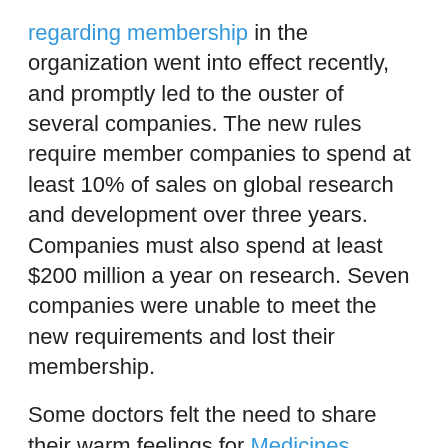regarding membership in the organization went into effect recently, and promptly led to the ouster of several companies. The new rules require member companies to spend at least 10% of sales on global research and development over three years. Companies must also spend at least $200 million a year on research. Seven companies were unable to meet the new requirements and lost their membership.
Some doctors felt the need to share their warm feelings for Medicines Australia's transparency efforts. A pair of physicians, and the leader of the Greens party, who is also a doctor, penned a letter to the Australian Medical Journal, praising the